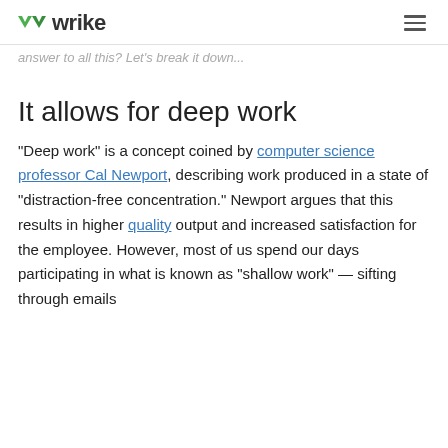wrike
answer to all this? Let's break it down...
It allows for deep work
"Deep work" is a concept coined by computer science professor Cal Newport, describing work produced in a state of “distraction-free concentration.” Newport argues that this results in higher quality output and increased satisfaction for the employee. However, most of us spend our days participating in what is known as "shallow work" — sifting through emails